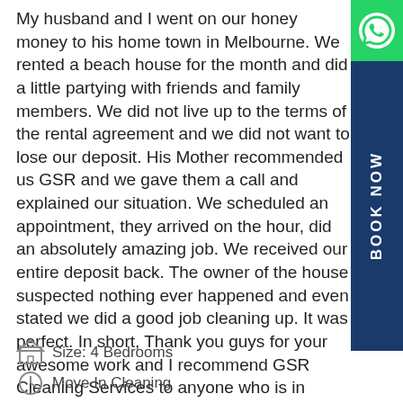My husband and I went on our honey money to his home town in Melbourne. We rented a beach house for the month and did a little partying with friends and family members. We did not live up to the terms of the rental agreement and we did not want to lose our deposit. His Mother recommended us GSR and we gave them a call and explained our situation. We scheduled an appointment, they arrived on the hour, did an absolutely amazing job. We received our entire deposit back. The owner of the house suspected nothing ever happened and even stated we did a good job cleaning up. It was perfect. In short, Thank you guys for your awesome work and I recommend GSR Cleaning Services to anyone who is in need. They reach out putting the customer first. Thank you!
Size: 4 Bedrooms
Move In Cleaning
[Figure (other): WhatsApp contact button (green circle with phone icon)]
[Figure (other): BOOK NOW vertical dark blue button]